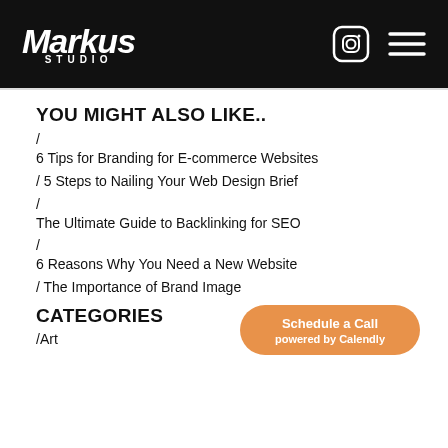Markus Studio — header with Instagram icon and hamburger menu
YOU MIGHT ALSO LIKE..
/ 6 Tips for Branding for E-commerce Websites
/ 5 Steps to Nailing Your Web Design Brief
/ The Ultimate Guide to Backlinking for SEO
/ 6 Reasons Why You Need a New Website
/ The Importance of Brand Image
CATEGORIES
/Art